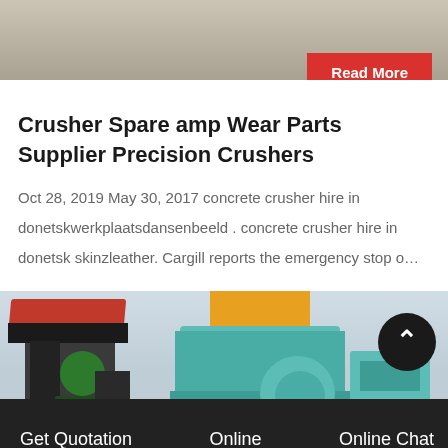[Figure (photo): Top portion of an industrial/concrete surface image, partially cropped]
Read More
Crusher Spare amp Wear Parts Supplier Precision Crushers
Oct 28, 2019 May 30, 2017 concrete crusher hire in donetskwerkplaatsdansenbeeld . concrete crusher hire in donetsk skinzleather. Cargill reports the emergency stop o…
[Figure (photo): Industrial crusher machines with teal/green and dark grey components in a facility]
Get Quotation   Online   Online Chat